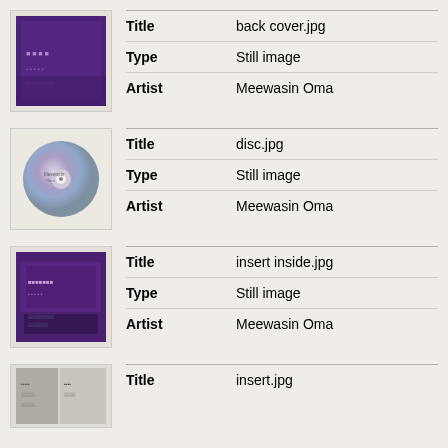| Field | Value |
| --- | --- |
| Title | back cover.jpg |
| Type | Still image |
| Artist | Meewasin Oma |
| Field | Value |
| --- | --- |
| Title | disc.jpg |
| Type | Still image |
| Artist | Meewasin Oma |
| Field | Value |
| --- | --- |
| Title | insert inside.jpg |
| Type | Still image |
| Artist | Meewasin Oma |
| Field | Value |
| --- | --- |
| Title | insert.jpg |